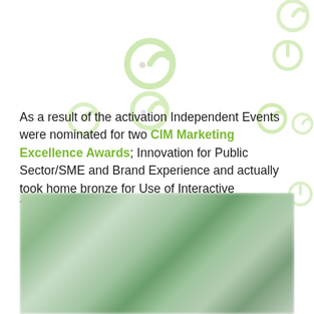[Figure (illustration): Repeated light green stylized 'e' logo watermarks scattered across white background]
As a result of the activation Independent Events were nominated for two CIM Marketing Excellence Awards; Innovation for Public Sector/SME and Brand Experience and actually took home bronze for Use of Interactive Technology in Promotions.
[Figure (photo): Blurred green-tinted photograph showing background scene with green and grey tones]